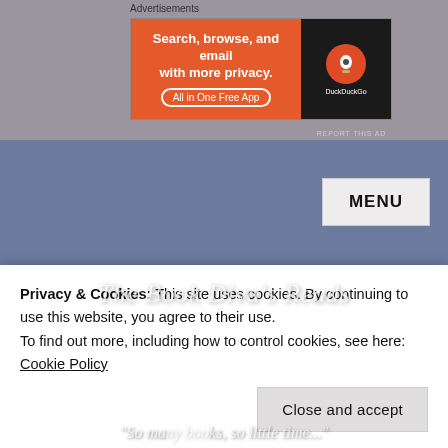Advertisements
[Figure (screenshot): DuckDuckGo advertisement banner: orange left side reads 'Search, browse, and email with more privacy. All in One Free App', dark right side shows DuckDuckGo logo and name]
REPORT THIS AD
[Figure (screenshot): MENU button in top right area of a muted blue-gray website header]
[Figure (screenshot): The Book Diva's Reads blog banner image showing open books with text overlay 'The Book Diva's Reads' and partial text 'So many books, so little time...']
Privacy & Cookies: This site uses cookies. By continuing to use this website, you agree to their use.
To find out more, including how to control cookies, see here: Cookie Policy
Close and accept